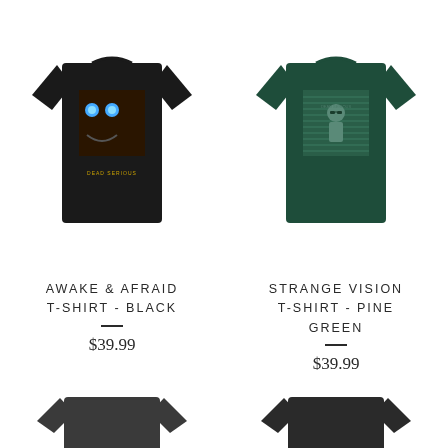[Figure (photo): Black t-shirt with horror face graphic print - Awake & Afraid design]
[Figure (photo): Pine green t-shirt with Strange Vision graphic print showing figure with sunglasses]
AWAKE & AFRAID T-SHIRT - BLACK
$39.99
STRANGE VISION T-SHIRT - PINE GREEN
$39.99
[Figure (photo): Dark gray t-shirt, partially visible at bottom left]
[Figure (photo): Dark t-shirt, partially visible at bottom right]